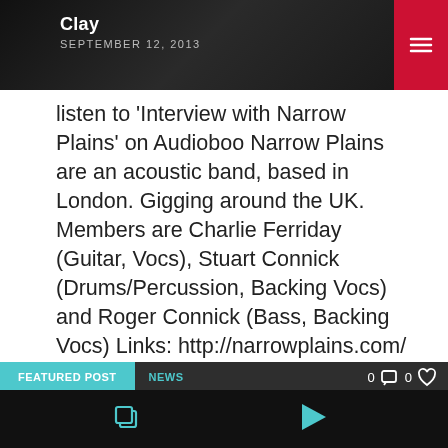Clay
SEPTEMBER 12, 2013
listen to ‘Interview with Narrow Plains’ on Audioboo Narrow Plains are an acoustic band, based in London. Gigging around the UK. Members are Charlie Ferriday (Guitar, Vocs), Stuart Connick (Drums/Percussion, Backing Vocs) and Roger Connick (Bass, Backing Vocs) Links: http://narrowplains.com/ Bookings: NarrowPlains@gmail.com
FEATURED POST  NEWS